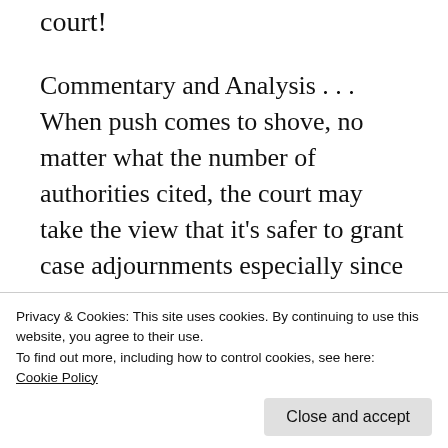court!
Commentary and Analysis . . . When push comes to shove, no matter what the number of authorities cited, the court may take the view that it’s safer to grant case adjournments especially since the case may see a dramatic turn based on the “jugular vein” in law. More on that shortly. See here . . .
Do Najib’s new lawyers deserve more
Privacy & Cookies: This site uses cookies. By continuing to use this website, you agree to their use.
To find out more, including how to control cookies, see here:
Cookie Policy
Close and accept
opinion/letters/2022/05/04/one-cant-keep